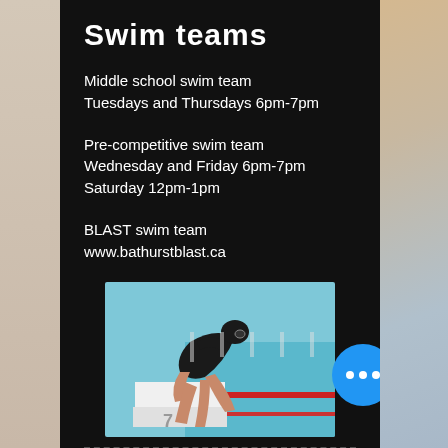Swim teams
Middle school swim team
Tuesdays and Thursdays 6pm-7pm
Pre-competitive swim team
Wednesday and Friday 6pm-7pm
Saturday 12pm-1pm
BLAST swim team
www.bathurstblast.ca
[Figure (photo): Swimmer in black swimsuit and cap crouched on a starting block at the edge of a swimming pool, ready to dive in. Pool lanes with red dividers visible in the background.]
Équipes de natat…
Écoles intermédiaires